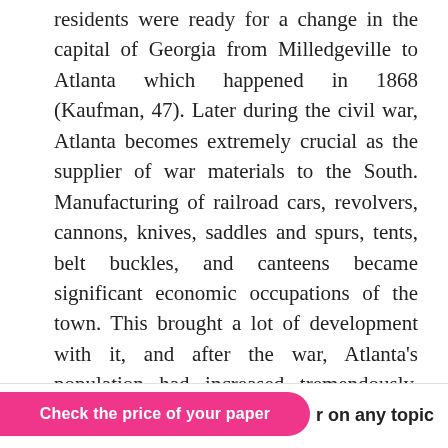residents were ready for a change in the capital of Georgia from Milledgeville to Atlanta which happened in 1868 (Kaufman, 47). Later during the civil war, Atlanta becomes extremely crucial as the supplier of war materials to the South. Manufacturing of railroad cars, revolvers, cannons, knives, saddles and spurs, tents, belt buckles, and canteens became significant economic occupations of the town. This brought a lot of development with it, and after the war, Atlanta's population had increased tremendously, many businesses were established, private schools increased to 22, and a bank and a University chartered. By 1910, the population of Atlanta had reached 154,839 with 33.5% being black, and by 1920, the population stood at 200,616 people.
r on any topic
Check the price of your paper